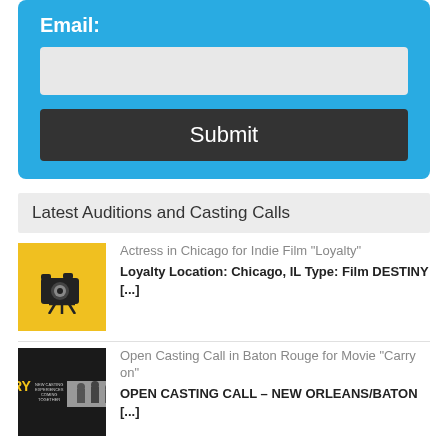Email:
[Figure (screenshot): Email input text field (empty)]
Submit
Latest Auditions and Casting Calls
Actress in Chicago for Indie Film “Loyalty” — Loyalty Location: Chicago, IL Type: Film DESTINY [...]
Open Casting Call in Baton Rouge for Movie “Carry on” — OPEN CASTING CALL – NEW ORLEANS/BATON [...]